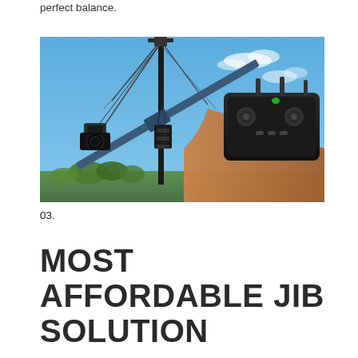perfect balance.
[Figure (photo): A camera jib arm mounted on a vertical pole against a blue sky, with a camera gimbal at one end. A person's hand is visible in the foreground holding a remote control transmitter.]
03.
MOST AFFORDABLE JIB SOLUTION